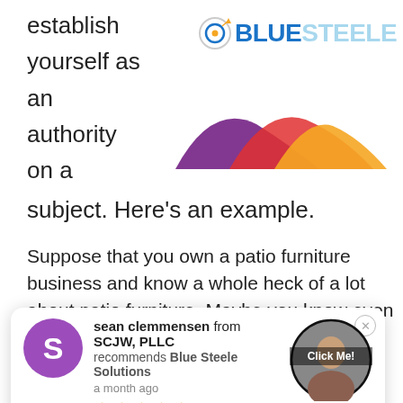establish yourself as an authority on a subject. Here's an example.
[Figure (logo): Blue Steele logo with circular icon and blue/light blue text]
[Figure (area-chart): Colorful mountain/hill area chart with purple, red, orange gradient hills]
Suppose that you own a patio furniture business and know a whole heck of a lot about patio furniture. Maybe you know even more about patio furniture than most so-called patio-furniture experts.
[Figure (screenshot): Review widget: Sean Clemmensen from SCJW, PLLC recommends Blue Steele Solutions, a month ago, 5 stars, with close button and Get a Quote button]